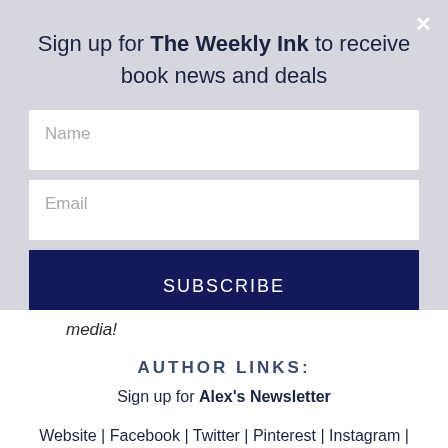Sign up for The Weekly Ink to receive book news and deals
Name
Email
SUBSCRIBE
media!
AUTHOR LINKS:
Sign up for Alex's Newsletter
Website | Facebook | Twitter | Pinterest | Instagram | Book + Main |  Amazon  |  Goodreads | Bookbub